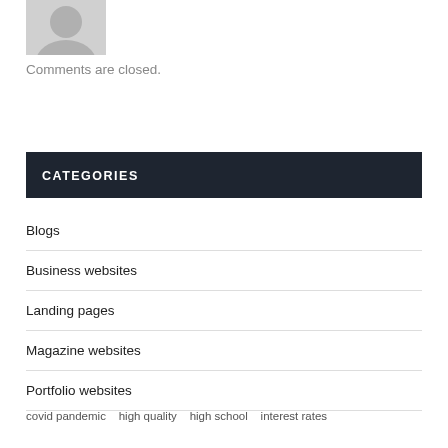[Figure (illustration): Partial avatar/profile placeholder image (grey silhouette) at top left]
Comments are closed.
CATEGORIES
Blogs
Business websites
Landing pages
Magazine websites
Portfolio websites
covid pandemic  high quality  high school  interest rates